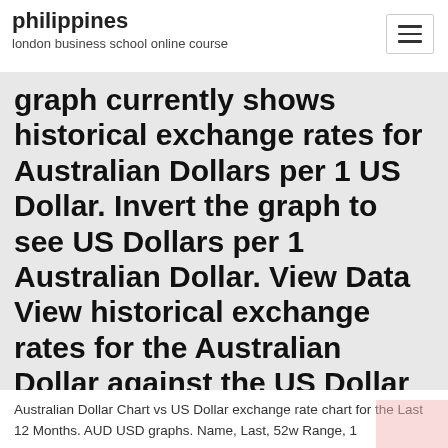philippines
london business school online course
graph currently shows historical exchange rates for Australian Dollars per 1 US Dollar. Invert the graph to see US Dollars per 1 Australian Dollar. View Data View historical exchange rates for the Australian Dollar against the US Dollar in a tabular format. Current US Dollar
Australian Dollar Chart vs US Dollar exchange rate chart for the Last 12 Months. AUD USD graphs. Name, Last, 52w Range, 1